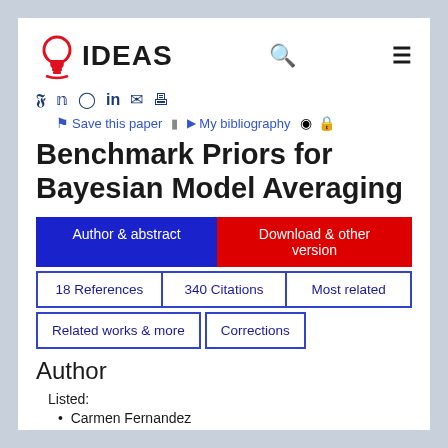[Figure (logo): IDEAS logo with lightbulb 'i' icon in red and 'IDEAS' text in black]
Social share icons: Twitter, Facebook, Reddit, LinkedIn, Email, Print
Save this paper  My bibliography
Benchmark Priors for Bayesian Model Averaging
Author & abstract | Download & other version | 18 References | 340 Citations | Most related | Related works & more | Corrections
Author
Listed:
Carmen Fernandez